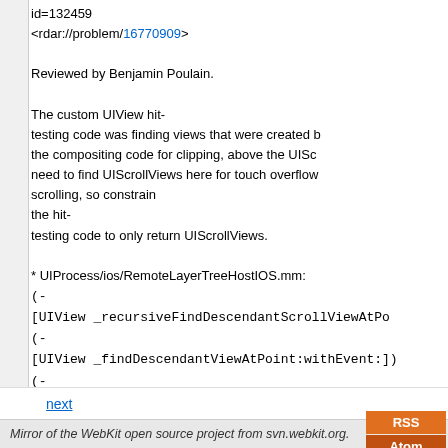id=132459
<rdar://problem/16770909>

Reviewed by Benjamin Poulain.

The custom UIView hit-testing code was finding views that were created by the compositing code for clipping, above the UIScrollView. We don't need to find UIScrollViews here for touch overflow scrolling, so constrain the hit-testing code to only return UIScrollViews.

* UIProcess/ios/RemoteLayerTreeHostIOS.mm:
(-[UIView _recursiveFindDescendantScrollViewAtPoint...])
(-[UIView _findDescendantViewAtPoint:withEvent:])
(-[UIView _recursiveFindDescendantViewAtPoint:wi...])

git-svn-id: https://svn.webkit.org/repository/webkit/trunk@...
cd09-0410-ab3c-d52691b4dbfc
next
Mirror of the WebKit open source project from svn.webkit.org.